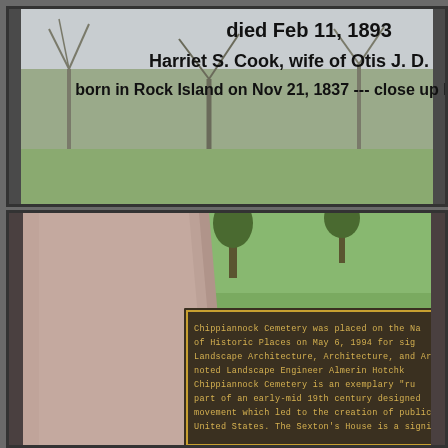[Figure (photo): Top panel showing a grave marker with bold overlaid text about Harriet S. Cook, born in Rock Island on Nov 21 1837, died Feb 11 1893, wife of Otis J. D., over a blurred winter cemetery background]
[Figure (photo): Bottom panel showing a close-up photo of a granite monument at Chippiannock Cemetery with a bronze plaque describing its placement on the National Register of Historic Places on May 6, 1994, for Landscape Architecture, Architecture, and the work of Almerin Hotchkiss. The plaque describes the cemetery as an exemplary rural cemetery, part of an early-mid 19th century designed landscape movement, mentions the Sexton's House as Gothic Revival architecture, several historic mausolea in Classical Revival style, and describes the cemetery as a museum of over eighty years of historic funerary art with numerous significant gravemarkers and monuments representing artistic preferences of the mid-late 19th and early 20th century, ranging from uninscribed tablet markers to Victorian ornamental styles.]